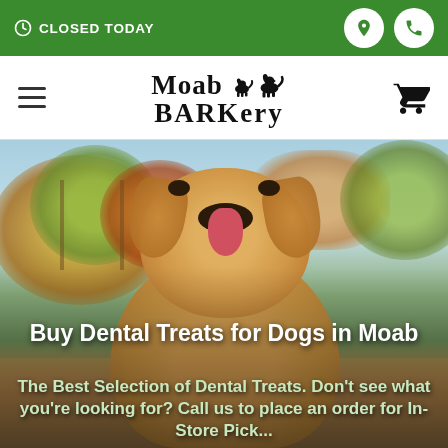CLOSED TODAY
Moab BARKery
[Figure (photo): Golden retriever dog in front of blurred vineyard/orchard autumn foliage background, outdoor scene with a blue sky]
Buy Dental Treats for Dogs in Moab
The Best Selection of Dental Treats. Don't see what you're looking for? Call us to place an order for In-Store Pickup.